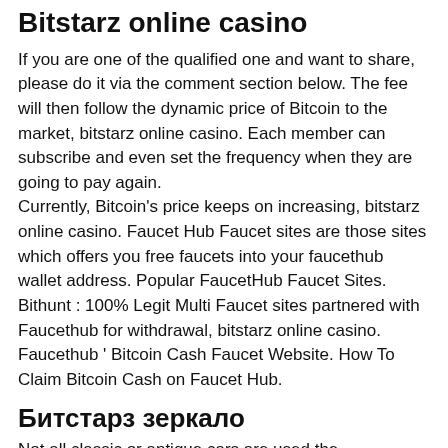Bitstarz online casino
If you are one of the qualified one and want to share, please do it via the comment section below. The fee will then follow the dynamic price of Bitcoin to the market, bitstarz online casino. Each member can subscribe and even set the frequency when they are going to pay again.
Currently, Bitcoin's price keeps on increasing, bitstarz online casino. Faucet Hub Faucet sites are those sites which offers you free faucets into your faucethub wallet address. Popular FaucetHub Faucet Sites. Bithunt : 100% Legit Multi Faucet sites partnered with Faucethub for withdrawal, bitstarz online casino. Faucethub ‘ Bitcoin Cash Faucet Website. How To Claim Bitcoin Cash on Faucet Hub.
Битстарз зеркало
Not all classic or antique cars are used the